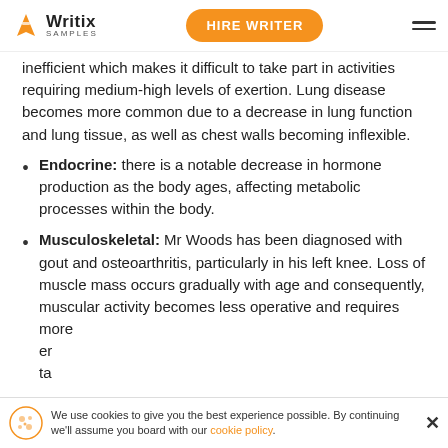Writix SAMPLES | HIRE WRITER
inefficient which makes it difficult to take part in activities requiring medium-high levels of exertion. Lung disease becomes more common due to a decrease in lung function and lung tissue, as well as chest walls becoming inflexible.
Endocrine: there is a notable decrease in hormone production as the body ages, affecting metabolic processes within the body.
Musculoskeletal: Mr Woods has been diagnosed with gout and osteoarthritis, particularly in his left knee. Loss of muscle mass occurs gradually with age and consequently, muscular activity becomes less operative and requires more energy from the individual to accomplish daily tasks.
We use cookies to give you the best experience possible. By continuing we'll assume you board with our cookie policy.